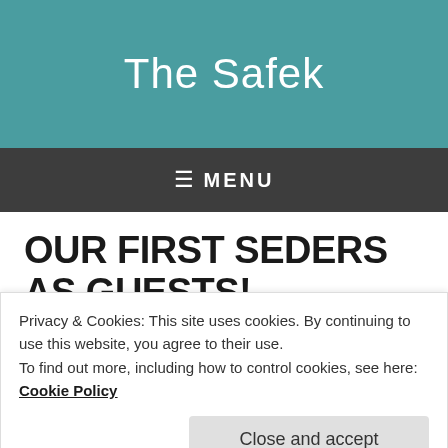The Safek
≡ MENU
OUR FIRST SEDERS AS GUESTS!
Posted on April 13, 2017
Privacy & Cookies: This site uses cookies. By continuing to use this website, you agree to their use.
To find out more, including how to control cookies, see here:
Cookie Policy
Close and accept
[Figure (photo): Partial view of food/people at a Seder, cropped at bottom of page]